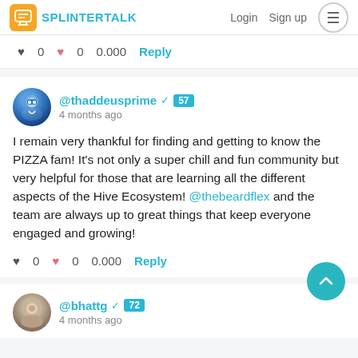SPLINTERTALK  Login  Sign up
0  0  0.000  Reply
@thaddeusprime ✓ 57
4 months ago
I remain very thankful for finding and getting to know the PIZZA fam! It's not only a super chill and fun community but very helpful for those that are learning all the different aspects of the Hive Ecosystem! @thebeardflex and the team are always up to great things that keep everyone engaged and growing!
0  0  0.000  Reply
@bhattg ✓ 72
4 months ago